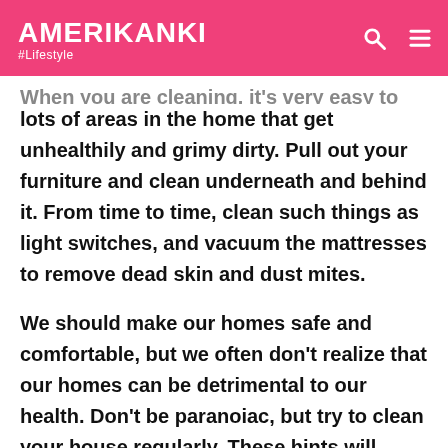AMERIKANKI #Lifestyle
When you are cleaning, it's very easy to overlook lots of areas in the home that get unhealthily and grimy dirty. Pull out your furniture and clean underneath and behind it. From time to time, clean such things as light switches, and vacuum the mattresses to remove dead skin and dust mites.
We should make our homes safe and comfortable, but we often don't realize that our homes can be detrimental to our health. Don't be paranoiac, but try to clean your house regularly. These hints will definitely help you to improve the quality of your house environment. Do you have some other tips? Share your thoughts, please!